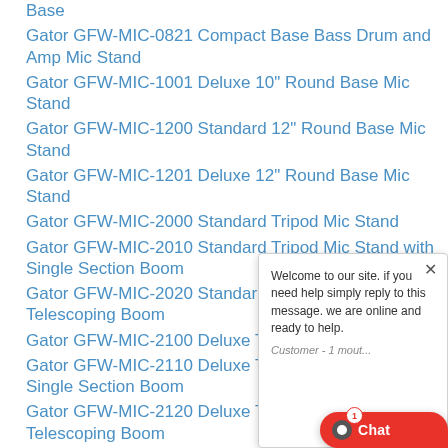Base
Gator GFW-MIC-0821 Compact Base Bass Drum and Amp Mic Stand
Gator GFW-MIC-1001 Deluxe 10" Round Base Mic Stand
Gator GFW-MIC-1200 Standard 12" Round Base Mic Stand
Gator GFW-MIC-1201 Deluxe 12" Round Base Mic Stand
Gator GFW-MIC-2000 Standard Tripod Mic Stand
Gator GFW-MIC-2010 Standard Tripod Mic Stand with Single Section Boom
Gator GFW-MIC-2020 Standard Tripod Mic Stand with Telescoping Boom
Gator GFW-MIC-2100 Deluxe Tripod Mic Sta...
Gator GFW-MIC-2110 Deluxe Tripod Mic Sta... Single Section Boom
Gator GFW-MIC-2120 Deluxe Tripod Mic Sta... Telescoping Boom
Gator GFW-MIC-2621 Tripod Style Bass Drum and...
Welcome to our site. if you need help simply reply to this message. we are online and ready to help.